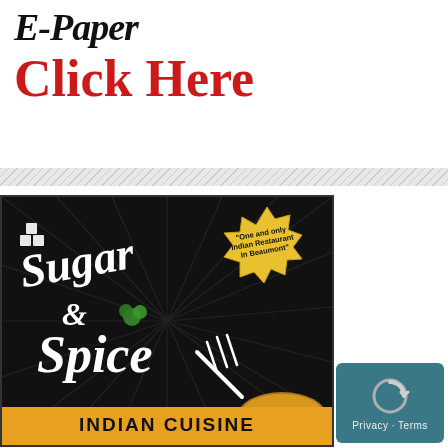E-Paper
Click Here
[Figure (illustration): Sugar & Spice Indian Restaurant advertisement with dark background and radiating lines. Features decorative script logo text 'Sugar & Spice', a yellow starburst badge reading 'One and only Indian Restaurant In Beaumont', an orange banner at the bottom reading 'INDIAN CUISINE', and a fork graphic.]
[Figure (logo): Privacy/reCAPTCHA badge overlay in teal/dark teal, showing a recaptcha icon and 'Privacy Terms' text.]